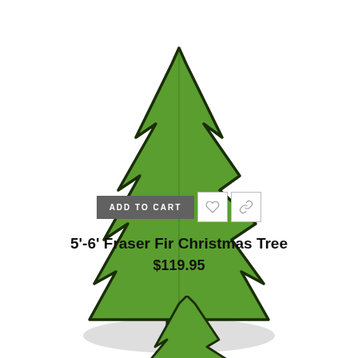[Figure (illustration): Cartoon-style illustration of a Fraser Fir Christmas tree with green foliage, dark outline, a small brown trunk visible at the base, and a gray shadow beneath it. The top portion of the tree is shown.]
[Figure (screenshot): Three buttons in a row: a dark gray 'ADD TO CART' button, a white square button with a heart icon outline, and a white square button with an infinity/link icon.]
5'-6' Fraser Fir Christmas Tree
$119.95
[Figure (illustration): Partial view of another cartoon-style Fraser Fir Christmas tree, showing only the upper portion at the bottom of the page.]